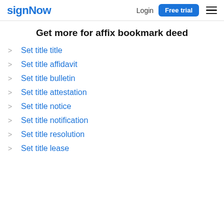signNow | Login | Free trial
Get more for affix bookmark deed
Set title title
Set title affidavit
Set title bulletin
Set title attestation
Set title notice
Set title notification
Set title resolution
Set title lease